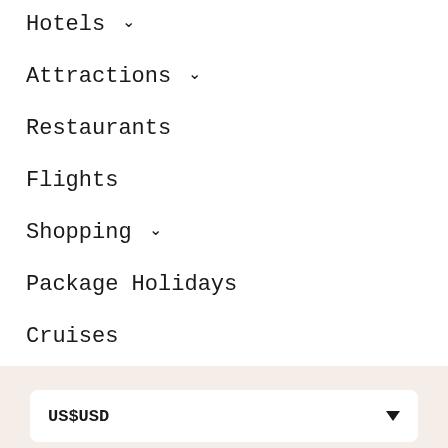Hotels ∨
Attractions ∨
Restaurants
Flights
Shopping ∨
Package Holidays
Cruises
Car Hire
More ∨
US$USD